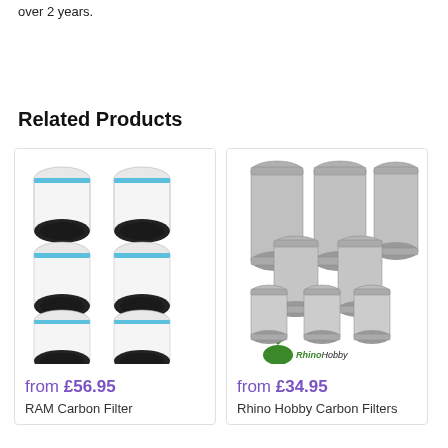over 2 years.
Related Products
[Figure (photo): Eight white cylindrical RAM Carbon Filter units arranged in a group]
from £56.95
RAM Carbon Filter
[Figure (photo): Multiple grey metallic cylindrical Rhino Hobby Carbon Filters of various sizes arranged in a group with RhinoHobby logo]
from £34.95
Rhino Hobby Carbon Filters